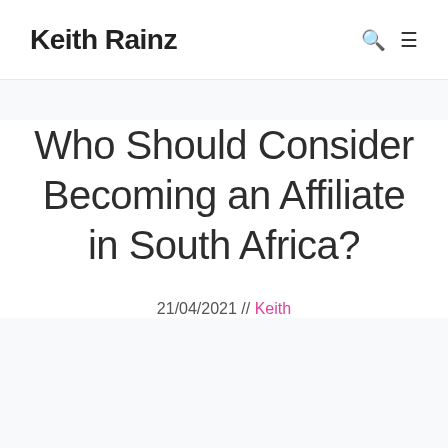Keith Rainz
Who Should Consider Becoming an Affiliate in South Africa?
21/04/2021 // Keith